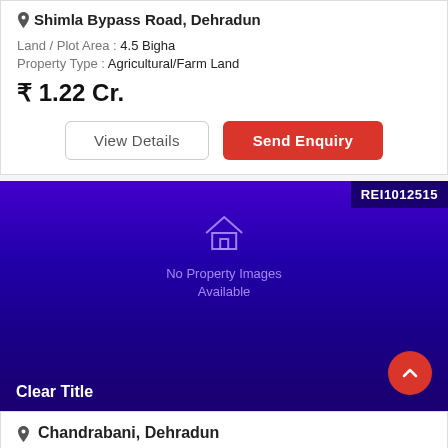Shimla Bypass Road, Dehradun
Land / Plot Area : 4.5 Bigha
Property Type : Agricultural/Farm Land
₹ 1.22 Cr.
View Details
Send Enquiry
[Figure (screenshot): Purple/blue gradient property listing image placeholder with house icon, 'No Property Images Available' text, REI1012515 badge top right, red scroll-up button bottom right, 'Clear Title' badge bottom left]
Chandrabani, Dehradun
Land / Plot Area : 242 Sq. Yards
Property Type : Residential Plot